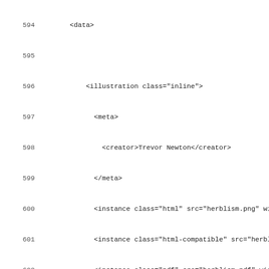Code listing lines 594-626 showing XML markup for illustration and section elements
594     <data>
595
596           <illustration class="inline">
597             <meta>
598               <creator>Trevor Newton</creator>
599             </meta>
600             <instance class="html" src="herblism.png" wid
601             <instance class="html-compatible" src="herbli
602             <instance class="pdf" src="herblism.pdf" widt
603           </illustration>
604
605           <p>Mastery of this New Order Discipline enable
606         </data>
607       </section>
608
609       <section class="frontmatter" id="element">
610         <meta><title>Elementalism</title></meta>
611         <data>
612
613           <illustration class="inline">
614             <meta>
615               <creator>Trevor Newton</creator>
616             </meta>
617             <instance class="html" src="elmntlsm.png" wic
618             <instance class="html-compatible" src="elmnti
619             <instance class="pdf" src="elmntlsm.pdf" widt
620           </illustration>
621
622           <p>This Discipline enables a New Order Grand M
623         </data>
624       </section>
625
626       <section class="frontmatter" id="hardsman">